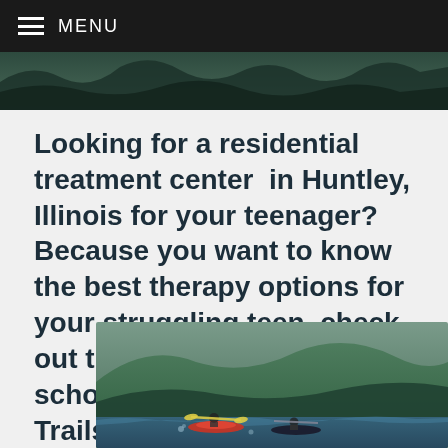≡ MENU
[Figure (photo): Dark landscape banner image showing mountainous terrain, partially visible at top of page]
Looking for a residential treatment center in Huntley, Illinois for your teenager? Because you want to know the best therapy options for your struggling teen, check out the therapeutic boarding school program at Ozark Trails Academy (in Missouri).
[Figure (photo): Outdoor photo showing people kayaking or rafting on a river with mountainous green hillside in the background]